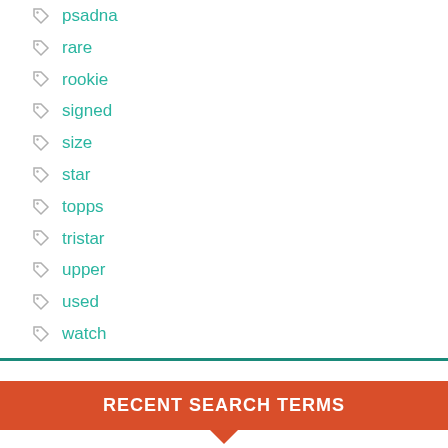psadna
rare
rookie
signed
size
star
topps
tristar
upper
used
watch
RECENT SEARCH TERMS
David Wannstedt Autograph football value